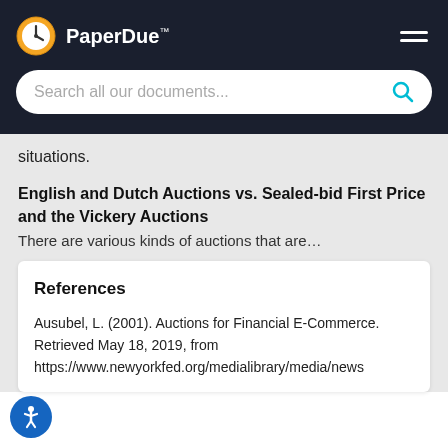[Figure (logo): PaperDue logo with clock icon and search bar navigation header on dark background]
situations.
English and Dutch Auctions vs. Sealed-bid First Price and the Vickery Auctions
There are various kinds of auctions that are…
References
Ausubel, L. (2001). Auctions for Financial E-Commerce. Retrieved May 18, 2019, from https://www.newyorkfed.org/medialibrary/media/news